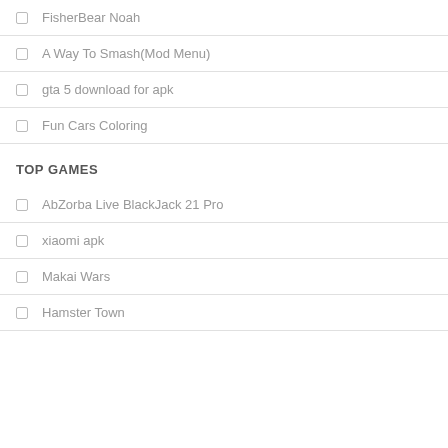FisherBear Noah
A Way To Smash(Mod Menu)
gta 5 download for apk
Fun Cars Coloring
TOP GAMES
AbZorba Live BlackJack 21 Pro
xiaomi apk
Makai Wars
Hamster Town